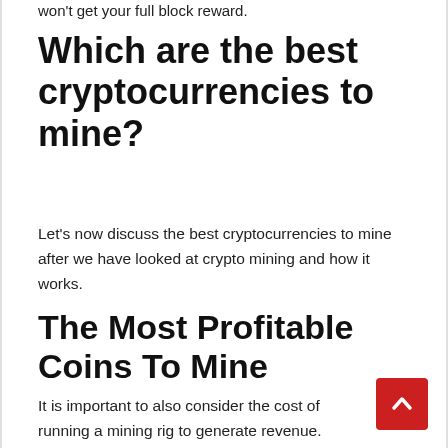won't get your full block reward.
Which are the best cryptocurrencies to mine?
Let's now discuss the best cryptocurrencies to mine after we have looked at crypto mining and how it works.
The Most Profitable Coins To Mine
It is important to also consider the cost of running a mining rig to generate revenue. Consider how long...